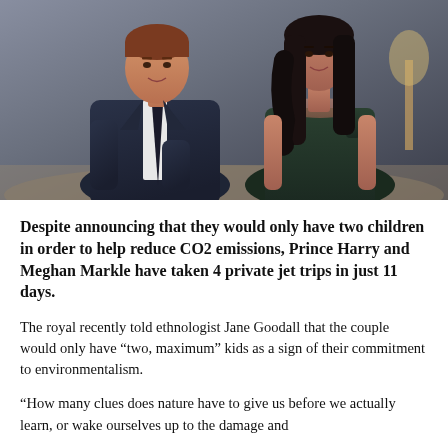[Figure (photo): Photo of Prince Harry and Meghan Markle sitting together. Harry is on the left wearing a navy suit with a dark tie. Meghan is on the right wearing a dark green sleeveless dress with long dark hair. Background appears to be an indoor setting.]
Despite announcing that they would only have two children in order to help reduce CO2 emissions, Prince Harry and Meghan Markle have taken 4 private jet trips in just 11 days.
The royal recently told ethnologist Jane Goodall that the couple would only have “two, maximum” kids as a sign of their commitment to environmentalism.
“How many clues does nature have to give us before we actually learn, or wake ourselves up to the damage and